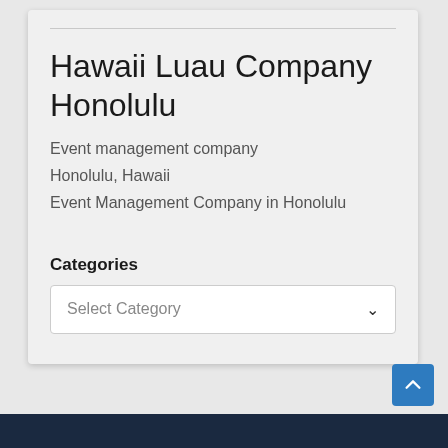Hawaii Luau Company Honolulu
Event management company
Honolulu, Hawaii
Event Management Company in Honolulu
Categories
Select Category